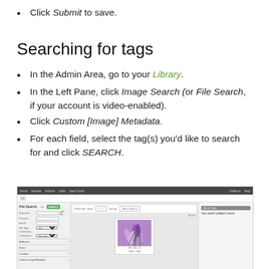Click Submit to save.
Searching for tags
In the Admin Area, go to your Library.
In the Left Pane, click Image Search (or File Search, if your account is video-enabled).
Click Custom [Image] Metadata.
For each field, select the tag(s) you'd like to search for and click SEARCH.
[Figure (screenshot): Screenshot of File Search interface showing a search panel on the left with fields for Keywords, Phrases, File ID, File Type, Community, and Attributes/Dates/Location/Custom Image Metadata sections. The center shows a search result with a flower/plant image thumbnail. The right panel shows 'Your search yielded 1 result.']